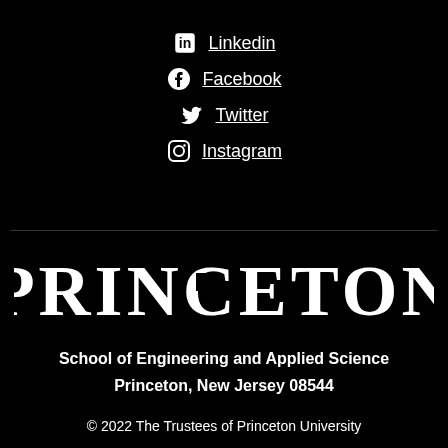Linkedin
Facebook
Twitter
Instagram
[Figure (logo): Princeton University wordmark logo in white on black background]
School of Engineering and Applied Science
Princeton, New Jersey 08544
© 2022 The Trustees of Princeton University